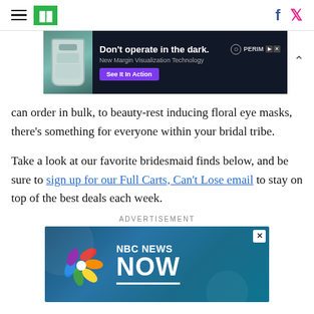HuffPost navigation with hamburger menu, site logo, Facebook and Twitter icons
[Figure (screenshot): Advertisement banner: 'Don't operate in the dark.' with doctor image, Perimag logo, and 'See It In Action' CTA button]
can order in bulk, to beauty-rest inducing floral eye masks, there’s something for everyone within your bridal tribe.
Take a look at our favorite bridesmaid finds below, and be sure to sign up for our Full Carts, Can’t Lose email to stay on top of the best deals each week.
ADVERTISEMENT
[Figure (screenshot): NBC News Now advertisement banner with peacock logo and 'NBC NEWS NOW' text on blue background]